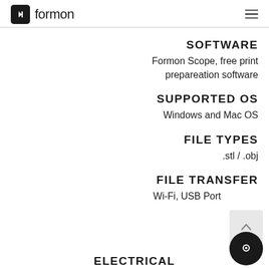formon
SOFTWARE
Formon Scope, free print prepareation software
SUPPORTED OS
Windows and Mac OS
FILE TYPES
.stl / .obj
FILE TRANSFER
Wi-Fi, USB Port
ELECTRICAL